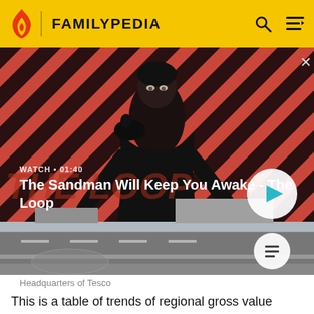FAMILYPEDIA
[Figure (screenshot): Video thumbnail showing a dark-clothed figure with a raven on shoulder against a red diagonal stripe background. Overlay text reads WATCH • 01:40 and title The Sandman Will Keep You Awake - The Loop, with a play button on the right. Bottom portion shows a road scene (Headquarters of Tesco).]
Headquarters of Tesco
This is a table of trends of regional gross value added of